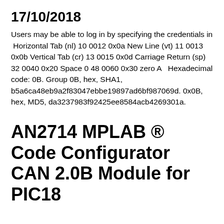17/10/2018
Users may be able to log in by specifying the credentials in  Horizontal Tab (nl) 10 0012 0x0a New Line (vt) 11 0013 0x0b Vertical Tab (cr) 13 0015 0x0d Carriage Return (sp) 32 0040 0x20 Space 0 48 0060 0x30 zero A   Hexadecimal code: 0B. Group 0B, hex, SHA1, b5a6ca48eb9a2f83047ebbe19897ad6bf987069d. 0x0B, hex, MD5, da3237983f92425ee8584acb4269301a.
AN2714 MPLAB ® Code Configurator CAN 2.0B Module for PIC18